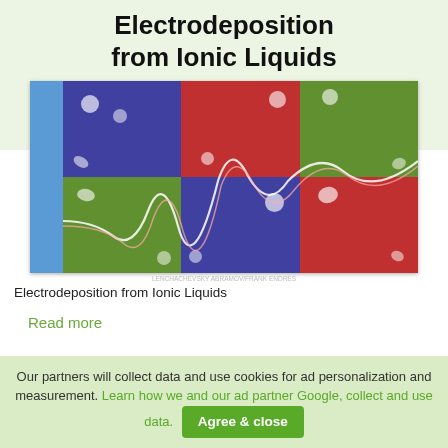Electrodeposition from Ionic Liquids
[Figure (photo): Book cover for 'Electrodeposition from Ionic Liquids' showing a colorful grid of blue, red, and green sections with white flower patterns and a wavy white line overlaid, plus a blue spine on the left.]
Electrodeposition from Ionic Liquids
Read more
Our partners will collect data and use cookies for ad personalization and measurement. Learn how we and our ad partner Google, collect and use data. Agree & close